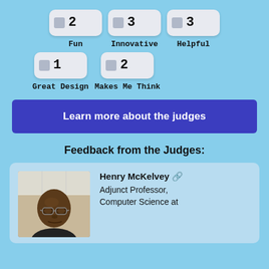☐ 2  Fun
☐ 3  Innovative
☐ 3  Helpful
☐ 1  Great Design
☐ 2  Makes Me Think
Learn more about the judges
Feedback from the Judges:
Henry McKelvey 🔗
Adjunct Professor, Computer Science at